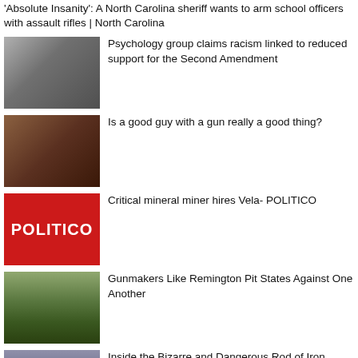'Absolute Insanity': A North Carolina sheriff wants to arm school officers with assault rifles | North Carolina
[Figure (photo): People walking outdoors, crowd scene]
Psychology group claims racism linked to reduced support for the Second Amendment
[Figure (photo): People inside a store or venue, FBI agents visible]
Is a good guy with a gun really a good thing?
[Figure (logo): POLITICO logo on red background]
Critical mineral miner hires Vela- POLITICO
[Figure (photo): Trees and building along a road]
Gunmakers Like Remington Pit States Against One Another
[Figure (photo): Person outdoors with cloudy sky]
Inside the Bizarre and Dangerous Rod of Iron Ministries